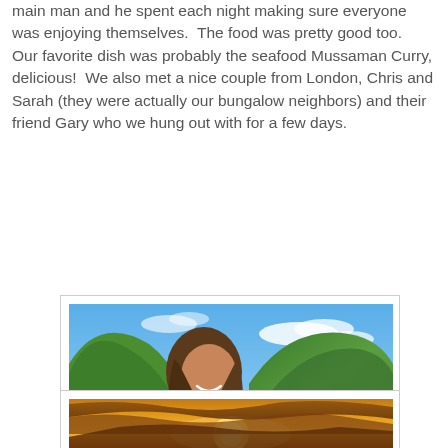main man and he spent each night making sure everyone was enjoying themselves.  The food was pretty good too.  Our favorite dish was probably the seafood Mussaman Curry, delicious!  We also met a nice couple from London, Chris and Sarah (they were actually our bungalow neighbors) and their friend Gary who we hung out with for a few days.
[Figure (photo): Young woman with long brown hair smiling on a sandy beach, with turquoise water and a green forested hill in the background under a partly cloudy blue sky.]
[Figure (photo): Sunset photo with warm orange and golden sky with dramatic clouds.]